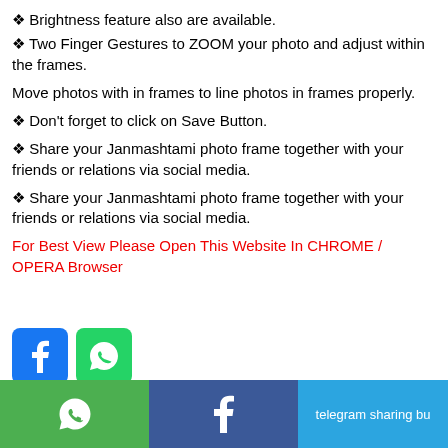❖ Brightness feature also are available.
❖ Two Finger Gestures to ZOOM your photo and adjust within the frames.
Move photos with in frames to line photos in frames properly.
❖ Don't forget to click on Save Button.
❖ Share your Janmashtami photo frame together with your friends or relations via social media.
❖ Share your Janmashtami photo frame together with your friends or relations via social media.
For Best View Please Open This Website In CHROME / OPERA Browser
[Figure (logo): Facebook and WhatsApp social sharing icons]
[Figure (infographic): Bottom sharing bar with WhatsApp (green), Facebook (blue), and Telegram (light blue) sections]